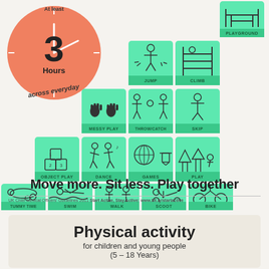[Figure (infographic): Circular clock graphic showing '3 Hours across everyday' with orange background and activity icons grid showing: PLAYGROUND, JUMP, CLIMB, MESSY PLAY, THROW/CATCH, SKIP, OBJECT PLAY, DANCE, GAMES, PLAY, TUMMY TIME, SWIM, WALK, SCOOT, BIKE. All activities displayed in green rounded square tiles.]
Move more. Sit less. Play together
UK Chief Medical Officers' Guidelines 2011 Start Active, Stay Active: www.bit.ly/startactive
Physical activity for children and young people (5 – 18 Years)